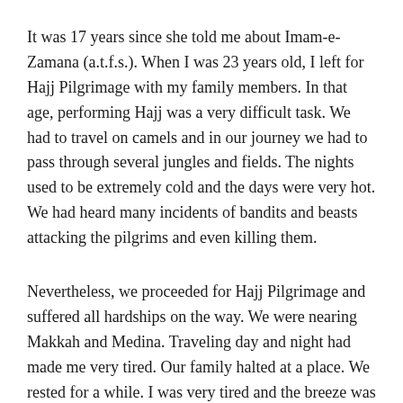It was 17 years since she told me about Imam-e-Zamana (a.t.f.s.). When I was 23 years old, I left for Hajj Pilgrimage with my family members. In that age, performing Hajj was a very difficult task. We had to travel on camels and in our journey we had to pass through several jungles and fields. The nights used to be extremely cold and the days were very hot. We had heard many incidents of bandits and beasts attacking the pilgrims and even killing them.
Nevertheless, we proceeded for Hajj Pilgrimage and suffered all hardships on the way. We were nearing Makkah and Medina. Traveling day and night had made me very tired. Our family halted at a place. We rested for a while. I was very tired and the breeze was very refreshing. I fell asleep. When I woke up, I was surprised to find myself alone in that jungle as my family had left without me. Even